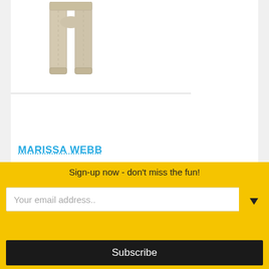[Figure (photo): Partial view of khaki/beige trousers on white background, showing legs and hem]
MARISSA WEBB
[Figure (photo): Blurred exterior photograph of a white classical European-style building with ornate architectural details]
Sign-up now - don't miss the fun!
Your email address..
Subscribe